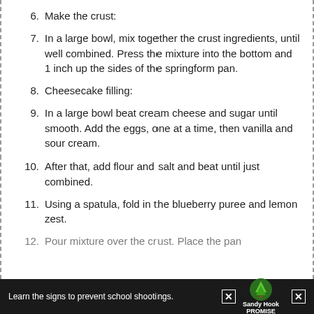6. Make the crust:
7. In a large bowl, mix together the crust ingredients, until well combined. Press the mixture into the bottom and 1 inch up the sides of the springform pan.
8. Cheesecake filling:
9. In a large bowl beat cream cheese and sugar until smooth. Add the eggs, one at a time, then vanilla and sour cream.
10. After that, add flour and salt and beat until just combined.
11. Using a spatula, fold in the blueberry puree and lemon zest.
12. Pour mixture over the crust. Place the pan…
Learn the signs to prevent school shootings. Sandy Hook PROMISE